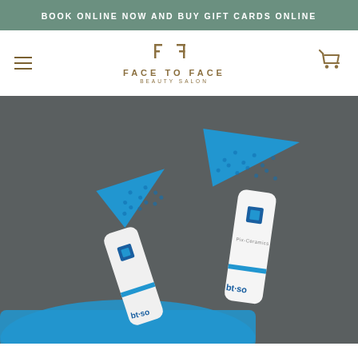BOOK ONLINE NOW AND BUY GIFT CARDS ONLINE
[Figure (logo): Face to Face Beauty Salon logo with stylized FF monogram in gold/brown]
[Figure (photo): Two blue triangular-headed skincare device brushes (bt-so branded) with blue silicone pads, photographed against a dark grey background with a blue accessory bag at the bottom]